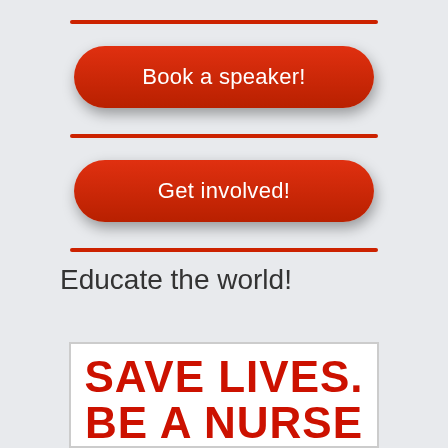[Figure (other): Red horizontal divider line]
[Figure (other): Red rounded button with text 'Book a speaker!']
[Figure (other): Red horizontal divider line]
[Figure (other): Red rounded button with text 'Get involved!']
[Figure (other): Red horizontal divider line]
Educate the world!
[Figure (other): Poster with bold red text: SAVE LIVES. BE A NURSE]